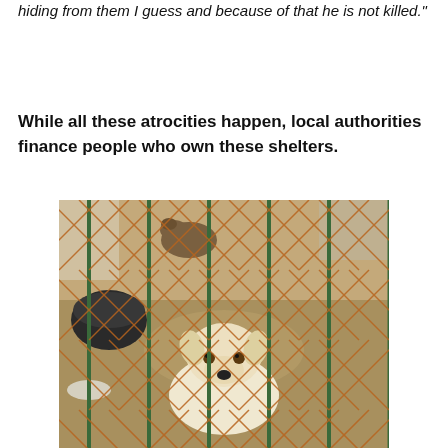hiding from them I guess and because of that he is not killed."
While all these atrocities happen, local authorities finance people who own these shelters.
[Figure (photo): A white dog looking through a chain-link fence at a shelter or kennel. Sandy ground visible, a dark bucket/bowl in the background, and another dog partially visible in the upper background behind the fence.]